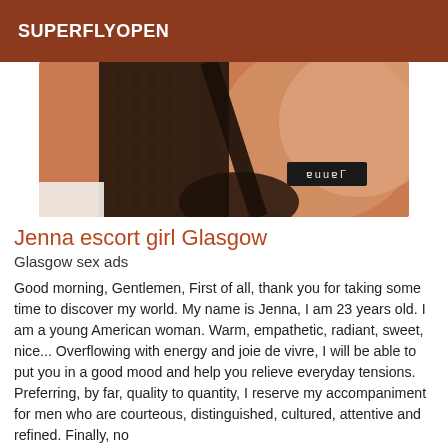SUPERFLYOPEN
[Figure (photo): Close-up photo of a person wearing black lace lingerie with a watermark label reading 'Jenna']
Jenna escort girl Glasgow
Glasgow sex ads
Good morning, Gentlemen, First of all, thank you for taking some time to discover my world. My name is Jenna, I am 23 years old. I am a young American woman. Warm, empathetic, radiant, sweet, nice... Overflowing with energy and joie de vivre, I will be able to put you in a good mood and help you relieve everyday tensions. Preferring, by far, quality to quantity, I reserve my accompaniment for men who are courteous, distinguished, cultured, attentive and refined. Finally, no